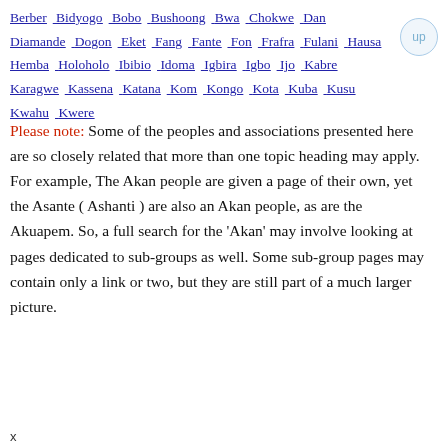Berber Bidyogo Bobo Bushoong Bwa Chokwe Dan Diamande Dogon Eket Fang Fante Fon Frafra Fulani Hausa Hemba Holoholo Ibibio Idoma Igbira Igbo Ijo Kabre Karagwe Kassena Katana Kom Kongo Kota Kuba Kusu Kwahu Kwere
up
Please note: Some of the peoples and associations presented here are so closely related that more than one topic heading may apply. For example, The Akan people are given a page of their own, yet the Asante ( Ashanti ) are also an Akan people, as are the Akuapem. So, a full search for the 'Akan' may involve looking at pages dedicated to sub-groups as well. Some sub-group pages may contain only a link or two, but they are still part of a much larger picture.
x